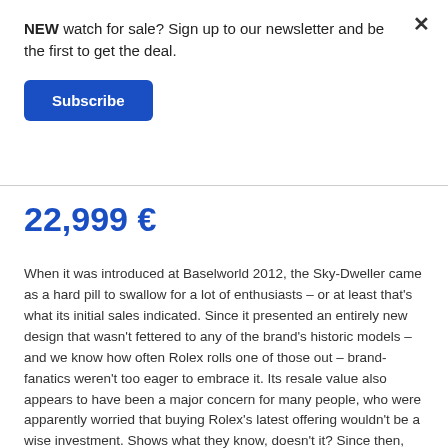NEW watch for sale? Sign up to our newsletter and be the first to get the deal.
Subscribe
22,999 €
When it was introduced at Baselworld 2012, the Sky-Dweller came as a hard pill to swallow for a lot of enthusiasts – or at least that's what its initial sales indicated. Since it presented an entirely new design that wasn't fettered to any of the brand's historic models – and we know how often Rolex rolls one of those out – brand-fanatics weren't too eager to embrace it. Its resale value also appears to have been a major concern for many people, who were apparently worried that buying Rolex's latest offering wouldn't be a wise investment. Shows what they know, doesn't it? Since then, the Sky-Dweller has become one of Rolex's